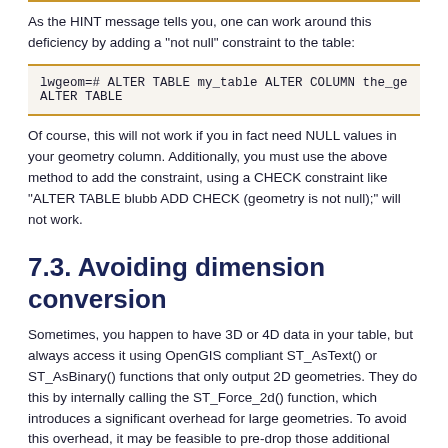As the HINT message tells you, one can work around this deficiency by adding a "not null" constraint to the table:
lwgeom=# ALTER TABLE my_table ALTER COLUMN the_ge
ALTER TABLE
Of course, this will not work if you in fact need NULL values in your geometry column. Additionally, you must use the above method to add the constraint, using a CHECK constraint like "ALTER TABLE blubb ADD CHECK (geometry is not null);" will not work.
7.3. Avoiding dimension conversion
Sometimes, you happen to have 3D or 4D data in your table, but always access it using OpenGIS compliant ST_AsText() or ST_AsBinary() functions that only output 2D geometries. They do this by internally calling the ST_Force_2d() function, which introduces a significant overhead for large geometries. To avoid this overhead, it may be feasible to pre-drop those additional dimensions